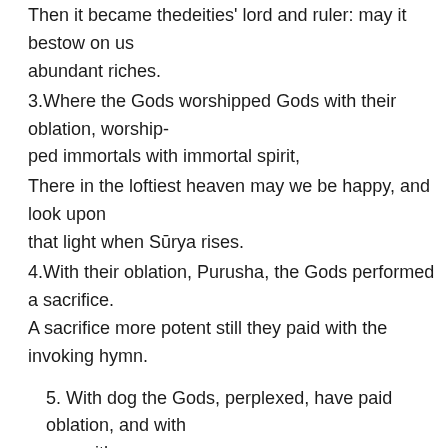Then it became thedeities' lord and ruler: may it bestow on us
abundant riches.
3.Where the Gods worshipped Gods with their oblation, worship-
ped immortals with immortal spirit,
There in the loftiest heaven may we be happy, and look upon
that light when Sūrya rises.
4.With their oblation, Purusha, the Gods performed a sacrifice.
A sacrifice more potent still they paid with the invoking hymn.
5. With dog the Gods, perplexed, have paid oblation, and with